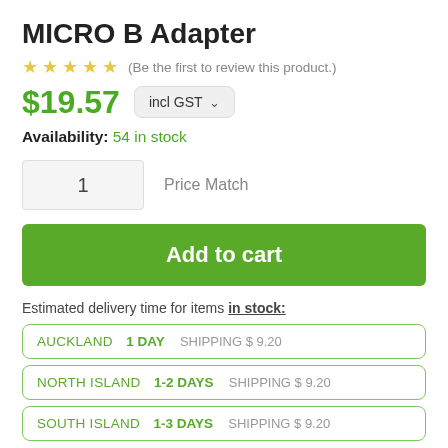MICRO B Adapter
(Be the first to review this product.)
$19.57 incl GST
Availability: 54 in stock
1  Price Match
Add to cart
Estimated delivery time for items in stock:
AUCKLAND  1 DAY  SHIPPING $ 9.20
NORTH ISLAND  1-2 DAYS  SHIPPING $ 9.20
SOUTH ISLAND  1-3 DAYS  SHIPPING $ 9.20